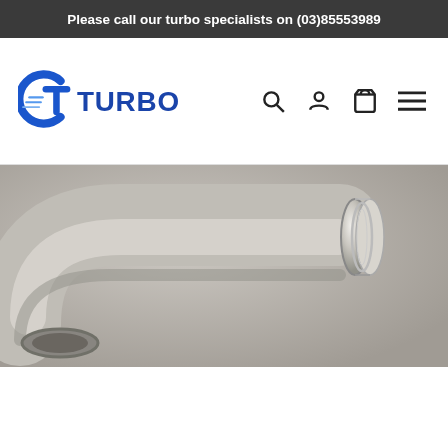Please call our turbo specialists on (03)85553989
[Figure (logo): CT Turbo logo — stylized C and T letters in blue with speed lines and TURBO text]
[Figure (photo): A polished silver/aluminum turbo inlet elbow pipe fitting — 90-degree bend with flanged end, photographed on a gray background]